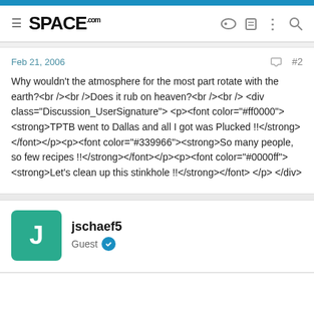SPACE.com
Feb 21, 2006 #2
Why wouldn't the atmosphere for the most part rotate with the earth?<br /><br />Does it rub on heaven?<br /><br /> <div class="Discussion_UserSignature"> <p><font color="#ff0000"><strong>TPTB went to Dallas and all I got was Plucked !!</strong></font></p><p><font color="#339966"><strong>So many people, so few recipes !!</strong></font></p><p><font color="#0000ff"><strong>Let's clean up this stinkhole !!</strong></font> </p> </div>
jschaef5
Guest